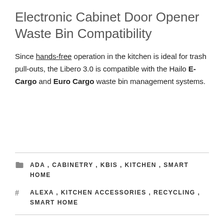Electronic Cabinet Door Opener Waste Bin Compatibility
Since hands-free operation in the kitchen is ideal for trash pull-outs, the Libero 3.0 is compatible with the Hailo E-Cargo and Euro Cargo waste bin management systems.
ADA , CABINETRY , KBIS , KITCHEN , SMART HOME
ALEXA , KITCHEN ACCESSORIES , RECYCLING , SMART HOME